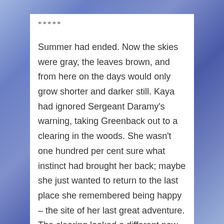*****
Summer had ended. Now the skies were gray, the leaves brown, and from here on the days would only grow shorter and darker still. Kaya had ignored Sergeant Daramy’s warning, taking Greenback out to a clearing in the woods. She wasn’t one hundred per cent sure what instinct had brought her back; maybe she just wanted to return to the last place she remembered being happy – the site of her last great adventure. The clearing looked a different now – smaller – and the last time she’d been here there had been stars above. All of her life was here in the car, so after some rummaging she had a screen on her lap